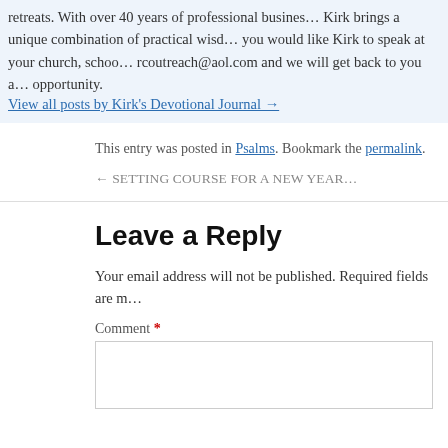retreats. With over 40 years of professional busines… Kirk brings a unique combination of practical wisd… you would like Kirk to speak at your church, schoo… rcoutreach@aol.com and we will get back to you a… opportunity.
View all posts by Kirk's Devotional Journal →
This entry was posted in Psalms. Bookmark the permalink.
← SETTING COURSE FOR A NEW YEAR…
Leave a Reply
Your email address will not be published. Required fields are m…
Comment *